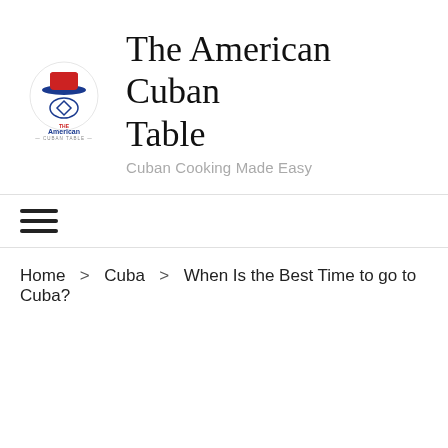[Figure (logo): The American Cuban Table logo: a circular emblem with a figure wearing a hat, red and blue colors, with text 'THE American CUBAN TABLE' below]
The American Cuban Table
Cuban Cooking Made Easy
[Figure (other): Hamburger menu icon with three horizontal lines]
Home > Cuba > When Is the Best Time to go to Cuba?